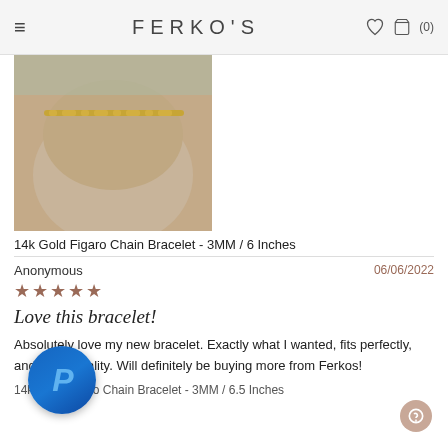FERKO'S
[Figure (photo): Close-up photo of a gold chain bracelet worn on a wrist, showing the figaro chain pattern against skin background]
14k Gold Figaro Chain Bracelet - 3MM / 6 Inches
Anonymous
06/06/2022
★★★★★
Love this bracelet!
Absolutely love my new bracelet. Exactly what I wanted, fits perfectly, and great quality. Will definitely be buying more from Ferkos!
14k Gold Figaro Chain Bracelet - 3MM / 6.5 Inches